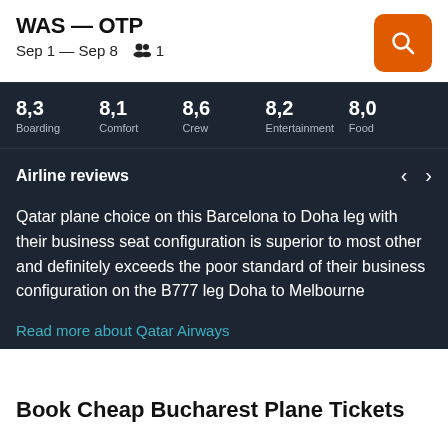WAS — OTP
Sep 1 — Sep 8  👥 1
| Score | Category |
| --- | --- |
| 8,3 | Boarding |
| 8,1 | Comfort |
| 8,6 | Crew |
| 8,2 | Entertainment |
| 8,0 | Food |
Airline reviews
Qatar plane choice on this Barcelona to Doha leg with their business seat configuration is superior to most other and definitely exceeds the poor standard of their business configuration on the B777 leg Doha to Melbourne
Read more about Qatar Airways
Book Cheap Bucharest Plane Tickets